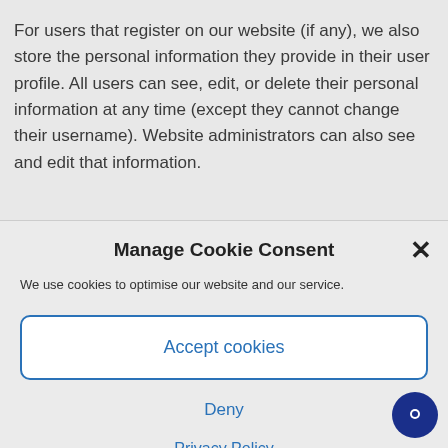For users that register on our website (if any), we also store the personal information they provide in their user profile. All users can see, edit, or delete their personal information at any time (except they cannot change their username). Website administrators can also see and edit that information.
Manage Cookie Consent
We use cookies to optimise our website and our service.
Accept cookies
Deny
Privacy Policy